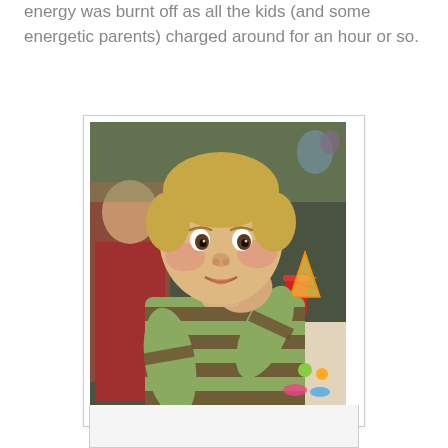energy was burnt off as all the kids (and some energetic parents) charged around for an hour or so.
[Figure (photo): A young toddler boy with short blond hair, rosy cheeks, wearing a green and brown striped long-sleeve shirt, sitting at a table at a birthday party, with his hand near his mouth eating something. Party decorations and colorful items visible in the background.]